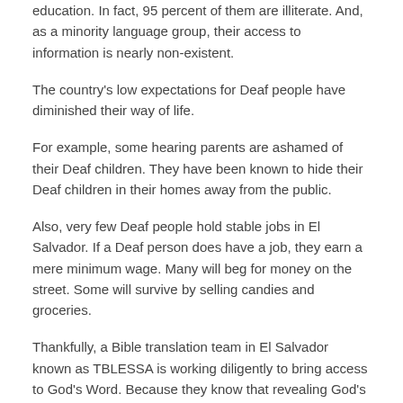education. In fact, 95 percent of them are illiterate. And, as a minority language group, their access to information is nearly non-existent.
The country's low expectations for Deaf people have diminished their way of life.
For example, some hearing parents are ashamed of their Deaf children. They have been known to hide their Deaf children in their homes away from the public.
Also, very few Deaf people hold stable jobs in El Salvador. If a Deaf person does have a job, they earn a mere minimum wage. Many will beg for money on the street. Some will survive by selling candies and groceries.
Thankfully, a Bible translation team in El Salvador known as TBLESSA is working diligently to bring access to God's Word. Because they know that revealing God's truth will set Deaf people free from the cultural forces that hide their God-given dignity.